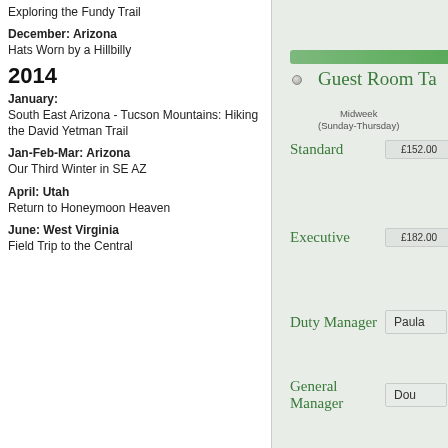Exploring the Fundy Trail
December: Arizona Hats Worn by a Hillbilly
2014
January: South East Arizona - Tucson Mountains: Hiking the David Yetman Trail
Jan-Feb-Mar: Arizona Our Third Winter in SE AZ
April: Utah Return to Honeymoon Heaven
June: West Virginia Field Trip to the Central
[Figure (photo): Photograph of a hotel guest room tariff board with green accents showing room categories (Standard £152.00, Executive £182.00), Duty Manager name 'Paula', General Manager name 'Dou...', and a column header for Midweek (Sunday-Thursday) rates.]